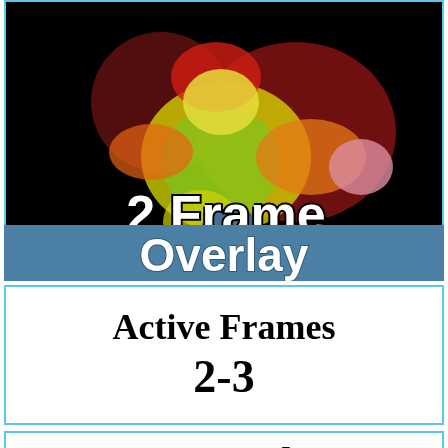[Figure (illustration): A colorful heat-map style image of a cartoon character (appears to be a video game character like Mario or similar) shown running or dashing, with colored overlapping regions indicating hitboxes or motion frames. Colors include yellow, red, orange, pink, blue on a black background. White bold text '2 Frame' overlaid at the bottom of the image. A blue banner below partially reads 'Overlay' or similar text.]
Active Frames
2-3
17 Total